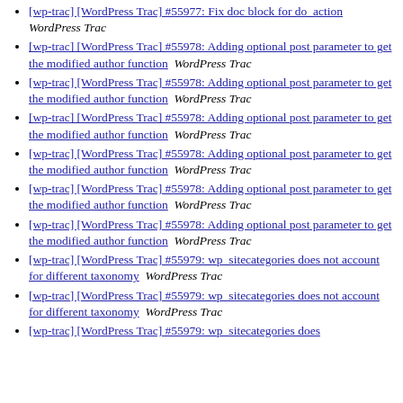[wp-trac] [WordPress Trac] #55977: Fix doc block for do_action  WordPress Trac
[wp-trac] [WordPress Trac] #55978: Adding optional post parameter to get the modified author function  WordPress Trac
[wp-trac] [WordPress Trac] #55978: Adding optional post parameter to get the modified author function  WordPress Trac
[wp-trac] [WordPress Trac] #55978: Adding optional post parameter to get the modified author function  WordPress Trac
[wp-trac] [WordPress Trac] #55978: Adding optional post parameter to get the modified author function  WordPress Trac
[wp-trac] [WordPress Trac] #55978: Adding optional post parameter to get the modified author function  WordPress Trac
[wp-trac] [WordPress Trac] #55978: Adding optional post parameter to get the modified author function  WordPress Trac
[wp-trac] [WordPress Trac] #55979: wp_sitecategories does not account for different taxonomy  WordPress Trac
[wp-trac] [WordPress Trac] #55979: wp_sitecategories does not account for different taxonomy  WordPress Trac
[wp-trac] [WordPress Trac] #55979: wp_sitecategories does